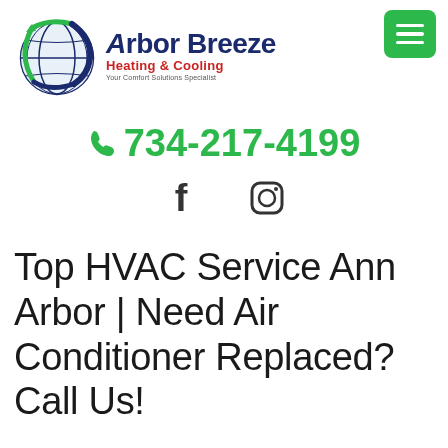[Figure (logo): Arbor Breeze Heating & Cooling logo with globe icon and company name. Tagline: Your Comfort Solutions Specialist]
734-217-4199
[Figure (other): Facebook and Instagram social media icons]
Top HVAC Service Ann Arbor | Need Air Conditioner Replaced? Call Us!